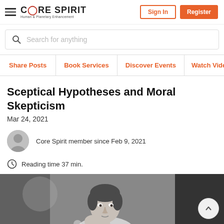CORE SPIRIT — Human & Planetary Enhancement
Search for anything
Share Posts | Book Services | Discover Events | Watch Videos
Sceptical Hypotheses and Moral Skepticism
Mar 24, 2021
Core Spirit member since Feb 9, 2021
Reading time 37 min.
[Figure (photo): Black and white photo of a man with short dark hair, resting his chin on his hand in a thoughtful pose, seated at a desk or table]